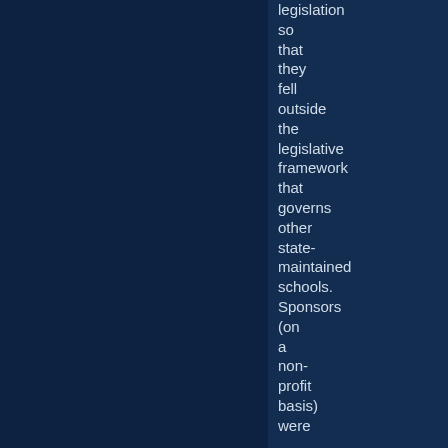legislation so that they fell outside the legislative framework that governs other state-maintained schools. Sponsors (on a non-profit basis) were